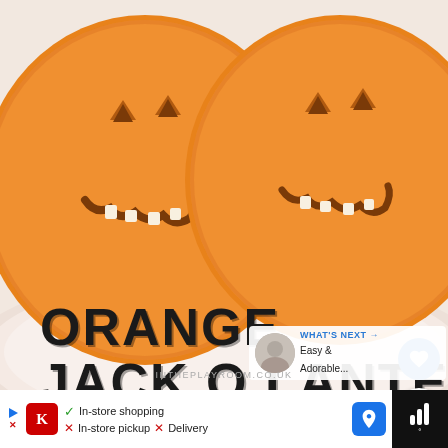[Figure (photo): Two oranges carved as jack-o-lanterns with triangle eyes and jagged mouths sitting on a white plate, photographed from above on a white background.]
ORANGE JACK O LANTERN FRUIT CUPS
INTHEPLAYROOM.CO.UK
WHAT'S NEXT → Easy & Adorable...
✓ In-store shopping  ✗ In-store pickup  ✗ Delivery